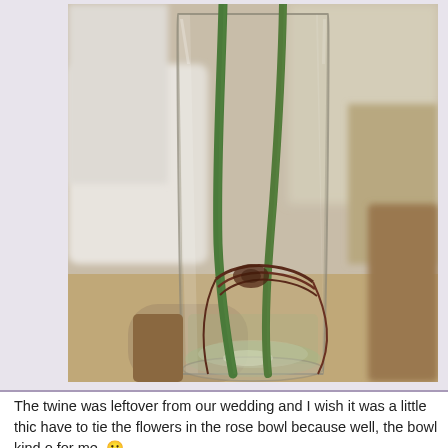[Figure (photo): Close-up photograph of green flower stems inside a clear glass vase, tied together with dark reddish-brown twine/wire. The background shows a blurred white cloth and wooden surface.]
The twine was leftover from our wedding and I wish it was a little thic have to tie the flowers in the rose bowl because well, the bowl kind o for me. 🙂